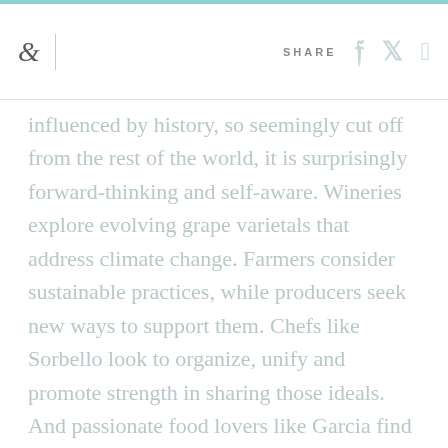& | SHARE
influenced by history, so seemingly cut off from the rest of the world, it is surprisingly forward-thinking and self-aware. Wineries explore evolving grape varietals that address climate change. Farmers consider sustainable practices, while producers seek new ways to support them. Chefs like Sorbello look to organize, unify and promote strength in sharing those ideals. And passionate food lovers like Garcia find ways to help communicate that mission.
Perhaps living in the shadow of one of the world's most active volcanoes, under